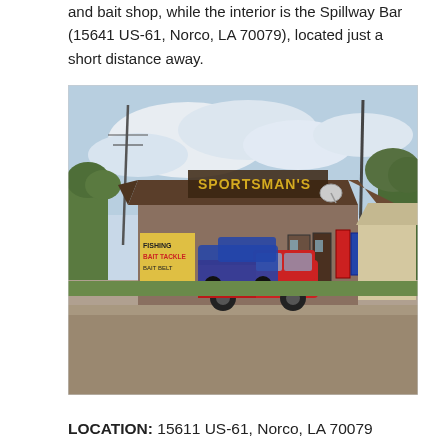and bait shop, while the interior is the Spillway Bar (15641 US-61, Norco, LA 70079), located just a short distance away.
[Figure (photo): Exterior photo of Sportsman's store/bait shop with brown roof, brick exterior, a red pickup truck parked in gravel lot, blue truck in background, signage for fishing tackle and bait, gravel parking area in foreground, trees and utility poles visible.]
LOCATION: 15611 US-61, Norco, LA 70079